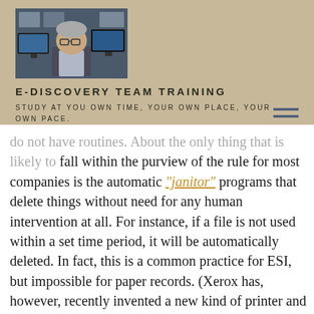[Figure (photo): Man sitting at a desk with computer monitors in background, wearing glasses and a jacket.]
E-DISCOVERY TEAM TRAINING
STUDY AT YOU OWN TIME, YOUR OWN PLACE, YOUR OWN PACE.
do not have routines. About the only thing that is likely to fall within the purview of the rule for most companies is the automatic "janitor" programs that delete things without need for any human intervention at all. For instance, if a file is not used within a set time period, it will be automatically deleted. In fact, this is a common practice for ESI, but impossible for paper records. (Xerox has, however, recently invented a new kind of printer and paper wherein the document automatically erases itself after a few days.)